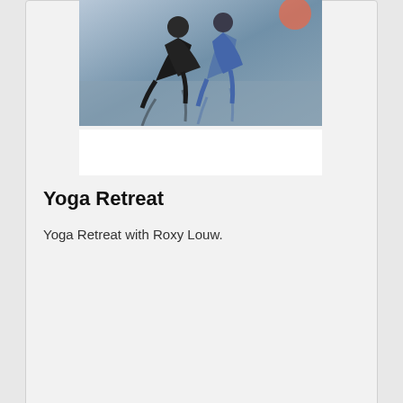[Figure (photo): Yoga/exercise image showing people practicing yoga or a similar activity outdoors, partially visible at top of card]
Yoga Retreat
Yoga Retreat with Roxy Louw.
Read more
15 JAN
We use cookies to make your experience better. To comply with the new e-Privacy directive, we need to ask for your consent to set the cookies. Learn more.
Allow Cookies